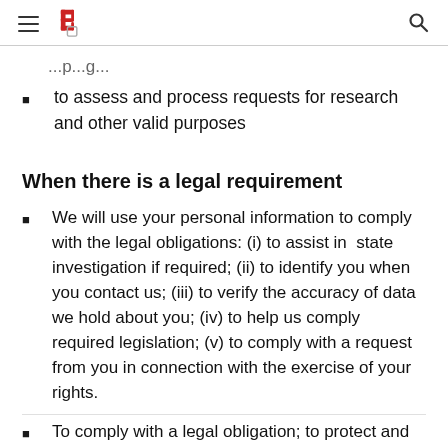[Navigation header with hamburger menu, logo, and search icon]
to assess and process requests for research and other valid purposes
When there is a legal requirement
We will use your personal information to comply with the legal obligations: (i) to assist in state investigation if required; (ii) to identify you when you contact us; (iii) to verify the accuracy of data we hold about you; (iv) to help us comply required legislation; (v) to comply with a request from you in connection with the exercise of your rights.
To comply with a legal obligation; to protect and